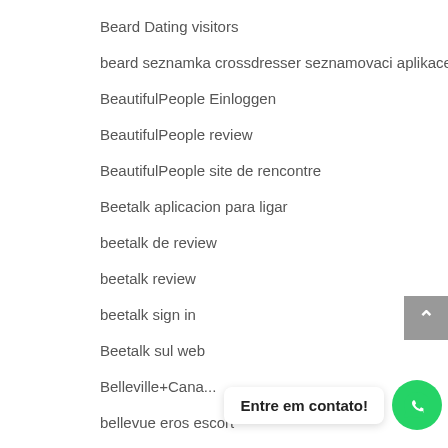Beard Dating visitors
beard seznamka crossdresser seznamovaci aplikace zdarma
BeautifulPeople Einloggen
BeautifulPeople review
BeautifulPeople site de rencontre
Beetalk aplicacion para ligar
beetalk de review
beetalk review
beetalk sign in
Beetalk sul web
Belleville+Cana...
bellevue eros escort